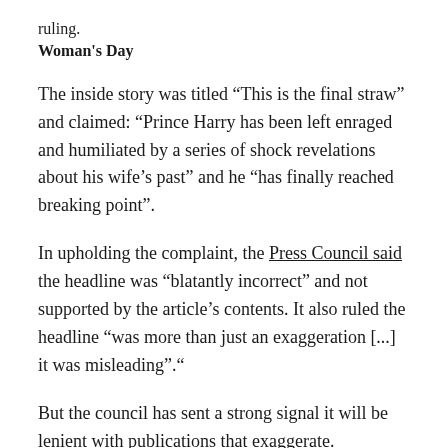ruling.
Woman's Day
The inside story was titled “This is the final straw” and claimed: “Prince Harry has been left enraged and humiliated by a series of shock revelations about his wife’s past” and he “has finally reached breaking point”.
In upholding the complaint, the Press Council said the headline was “blatantly incorrect” and not supported by the article’s contents. It also ruled the headline “was more than just an exaggeration [...] it was misleading”.“
But the council has sent a strong signal it will be lenient with publications that exaggerate.